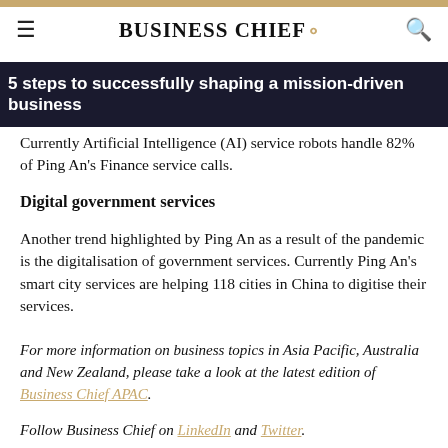BUSINESS CHIEF.
5 steps to successfully shaping a mission-driven business
Currently Artificial Intelligence (AI) service robots handle 82% of Ping An's Finance service calls.
Digital government services
Another trend highlighted by Ping An as a result of the pandemic is the digitalisation of government services. Currently Ping An's smart city services are helping 118 cities in China to digitise their services.
For more information on business topics in Asia Pacific, Australia and New Zealand, please take a look at the latest edition of Business Chief APAC.
Follow Business Chief on LinkedIn and Twitter.